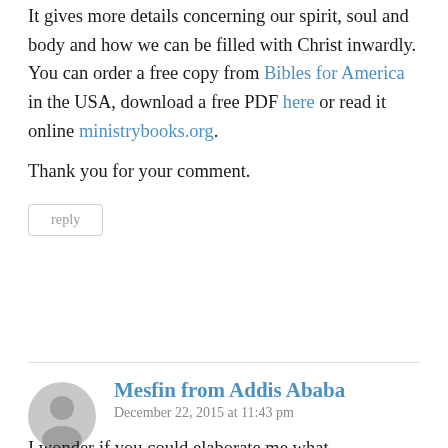It gives more details concerning our spirit, soul and body and how we can be filled with Christ inwardly. You can order a free copy from Bibles for America in the USA, download a free PDF here or read it online ministrybooks.org. Thank you for your comment.
reply
Mesfin from Addis Ababa
December 22, 2015 at 11:43 pm
I wonder if you could elaborate me what